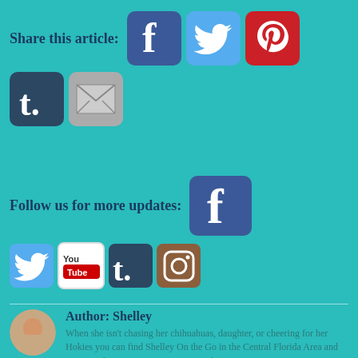Share this article:
[Figure (infographic): Social share icons: Facebook (blue), Twitter (light blue), Pinterest (red), Tumblr (dark teal), Email (gray)]
Follow us for more updates:
[Figure (infographic): Social follow icons: Facebook (blue), Twitter (light blue), YouTube (white/red), Tumblr (dark teal), Instagram (brown)]
Author: Shelley
When she isn't chasing her chihuahuas, daughter, or cheering for her Hokies you can find Shelley On the Go in the Central Florida Area and on-air with WDBO News 96.5 on Friday evenings!